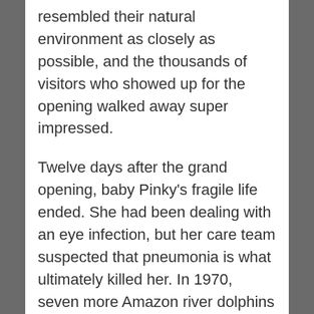resembled their natural environment as closely as possible, and the thousands of visitors who showed up for the opening walked away super impressed.
Twelve days after the grand opening, baby Pinky's fragile life ended. She had been dealing with an eye infection, but her care team suspected that pneumonia is what ultimately killed her. In 1970, seven more Amazon river dolphins arrived. Then in 1972 three Amazon River dolphins died after emergency digestive surgery at Magee-Womens Hospital. They had swallowed coins and other debris (even a rail spike) that had been thrown into their tank. Eventually, only one dolphin remained: Chuckles.